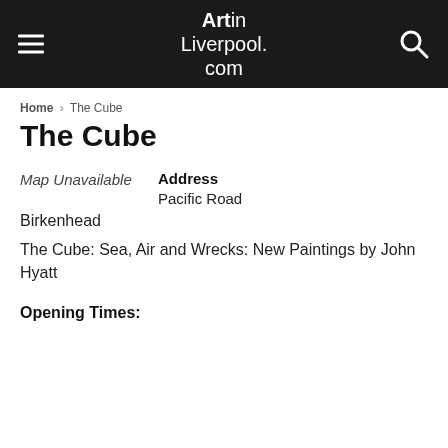Art in Liverpool.com
Home › The Cube
The Cube
Map Unavailable
Address
Pacific Road
Birkenhead
The Cube: Sea, Air and Wrecks: New Paintings by John Hyatt
Opening Times: